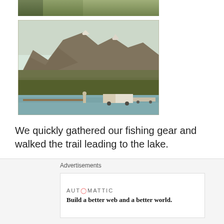[Figure (photo): Cropped top portion of a nature/landscape photo, partially visible at top of page]
[Figure (photo): Vintage-style photograph of a mountain lake scene with forested rocky mountains in background, a person and a truck with boat trailer at a lake's edge in foreground]
We quickly gathered our fishing gear and walked the trail leading to the lake.
[Figure (photo): Wide panoramic photo strip of a blue sky with wispy clouds, partially visible at bottom]
Advertisements
AUTOMATTIC
Build a better web and a better world.